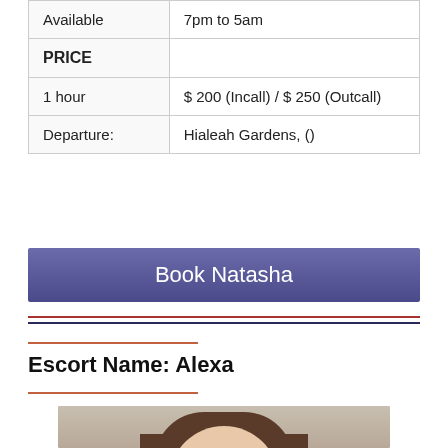| Available | 7pm to 5am |
| PRICE |  |
| 1 hour | $ 200 (Incall) / $ 250 (Outcall) |
| Departure: | Hialeah Gardens, () |
Book Natasha
Escort Name: Alexa
[Figure (photo): Portrait photo of a woman with brown hair against a neutral background]